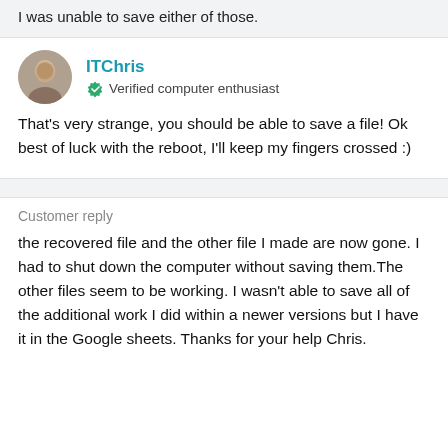I was unable to save either of those.
ITChris
Verified computer enthusiast
That's very strange, you should be able to save a file! Ok best of luck with the reboot, I'll keep my fingers crossed :)
Customer reply
the recovered file and the other file I made are now gone. I had to shut down the computer without saving them.The other files seem to be working. I wasn't able to save all of the additional work I did within a newer versions but I have it in the Google sheets. Thanks for your help Chris.